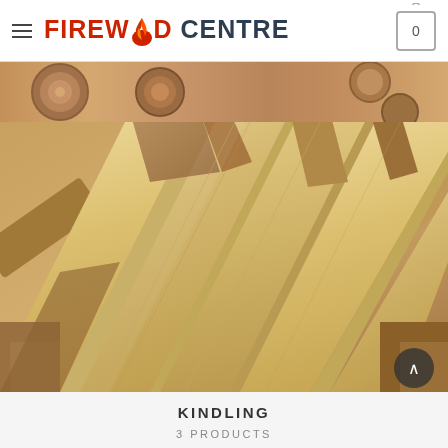FIREWOOD CENTRE
[Figure (photo): Partially visible background image of stacked firewood logs at the top strip below the header]
[Figure (photo): Close-up photo of kindling wood pieces - light-colored split wood logs arranged in a pile, showing wood grain and cross-sections]
KINDLING
3 PRODUCTS